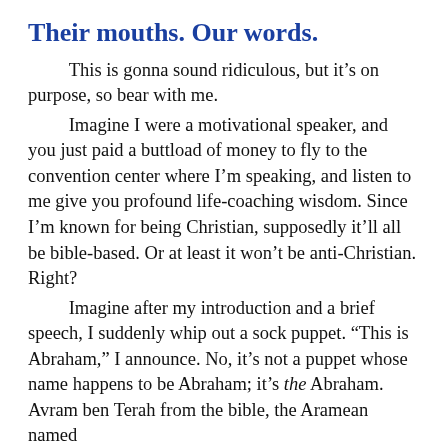Their mouths. Our words.
This is gonna sound ridiculous, but it's on purpose, so bear with me.
Imagine I were a motivational speaker, and you just paid a buttload of money to fly to the convention center where I'm speaking, and listen to me give you profound life-coaching wisdom. Since I'm known for being Christian, supposedly it'll all be bible-based. Or at least it won't be anti-Christian. Right?
Imagine after my introduction and a brief speech, I suddenly whip out a sock puppet. “This is Abraham,” I announce. No, it's not a puppet whose name happens to be Abraham; it's the Abraham. Avram ben Terah from the bible, the Aramean named